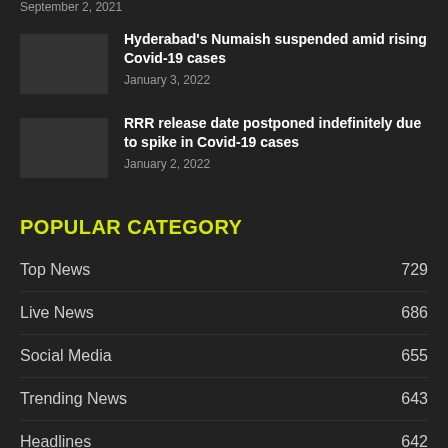September 2, 2021
Hyderabad's Numaish suspended amid rising Covid-19 cases
January 3, 2022
RRR release date postponed indefinitely due to spike in Covid-19 cases
January 2, 2022
POPULAR CATEGORY
Top News 729
Live News 686
Social Media 655
Trending News 643
Headlines 642